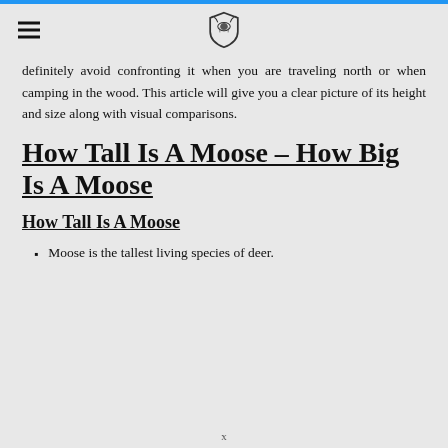[hamburger menu icon] [lion shield logo]
definitely avoid confronting it when you are traveling north or when camping in the wood. This article will give you a clear picture of its height and size along with visual comparisons.
How Tall Is A Moose – How Big Is A Moose
How Tall Is A Moose
Moose is the tallest living species of deer.
x